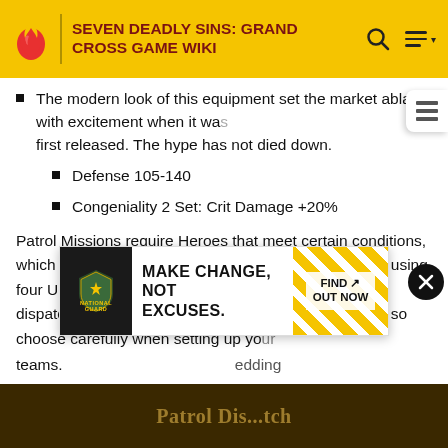SEVEN DEADLY SINS: GRAND CROSS GAME WIKI
The modern look of this equipment set the market ablaze with excitement when it was first released. The hype has not died down.
Defense 105-140
Congeniality 2 Set: Crit Damage +20%
Patrol Missions require Heroes that meet certain conditions, which are listed at the top of the mission (for example: using four UR Heroes).  Heroes that have already been dispatched cannot be used for another Patrol Mission, so choose carefully when setting up your teams. [ad overlay] ...edding costum... ...icket per day whenever the Patrol is sent out.
[Figure (screenshot): Army National Guard advertisement: MAKE CHANGE, NOT EXCUSES. FIND OUT NOW with yellow diagonal stripes]
[Figure (screenshot): Bottom strip showing partial text 'Patrol Dis...tch' in gold on dark background]